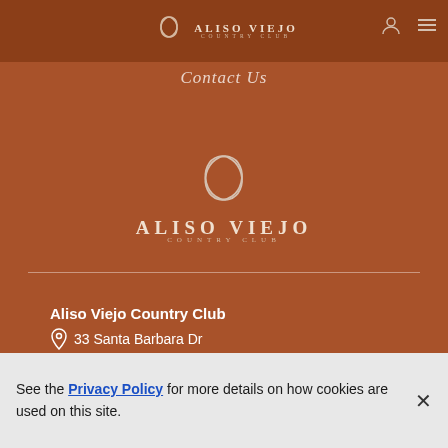Aliso Viejo Country Club - Navigation Header
Contact Us
[Figure (logo): Aliso Viejo Country Club logo centered on brown background]
Aliso Viejo Country Club
33 Santa Barbara Dr
See the Privacy Policy for more details on how cookies are used on this site.